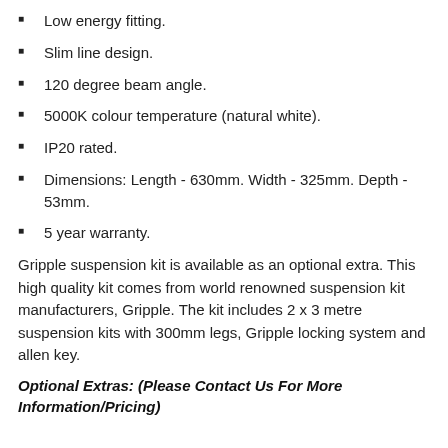Low energy fitting.
Slim line design.
120 degree beam angle.
5000K colour temperature (natural white).
IP20 rated.
Dimensions: Length - 630mm. Width - 325mm. Depth - 53mm.
5 year warranty.
Gripple suspension kit is available as an optional extra. This high quality kit comes from world renowned suspension kit manufacturers, Gripple. The kit includes 2 x 3 metre suspension kits with 300mm legs, Gripple locking system and allen key.
Optional Extras: (Please Contact Us For More Information/Pricing)